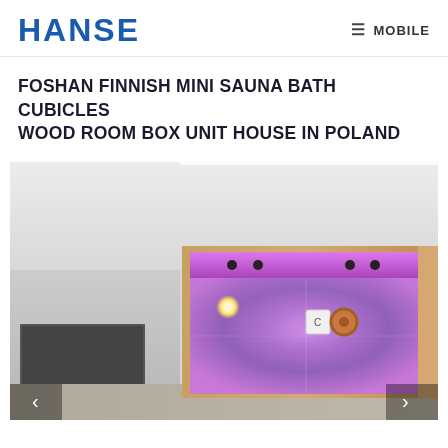HANSE | MOBILE
FOSHAN FINNISH MINI SAUNA BATH CUBICLES WOOD ROOM BOX UNIT HOUSE IN POLAND
[Figure (photo): Interior photo of a Finnish mini sauna bath cubicle with purple/violet LED lighting, wooden frame, glass walls, and navigation arrows on either side]